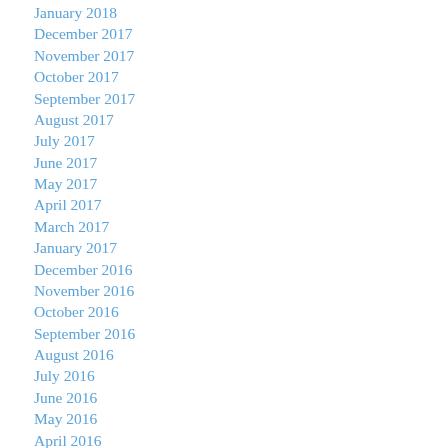January 2018
December 2017
November 2017
October 2017
September 2017
August 2017
July 2017
June 2017
May 2017
April 2017
March 2017
January 2017
December 2016
November 2016
October 2016
September 2016
August 2016
July 2016
June 2016
May 2016
April 2016